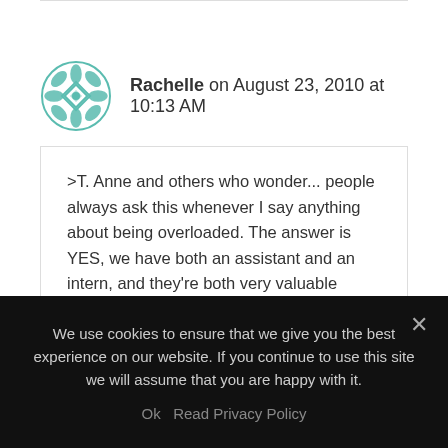[Figure (logo): Decorative teal geometric mandala/snowflake avatar icon for user Rachelle]
Rachelle on August 23, 2010 at 10:13 AM
>T. Anne and others who wonder... people always ask this whenever I say anything about being overloaded. The answer is YES, we have both an assistant and an intern, and they're both very valuable members of our team.

However, we often have them doing more important client-based work rather than reading queries. In
We use cookies to ensure that we give you the best experience on our website. If you continue to use this site we will assume that you are happy with it.
Ok  Read Privacy Policy